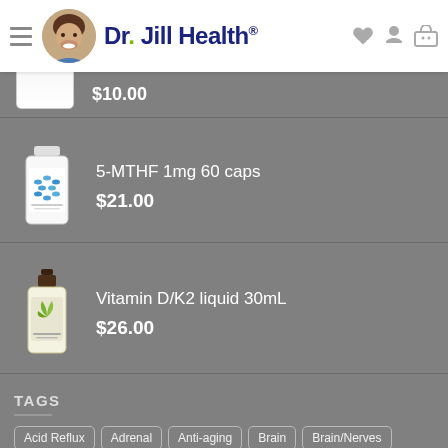Dr. Jill Health®
[Figure (screenshot): Partial product image at top, truncated, showing $10.00 price]
[Figure (photo): Supplement bottle for 5-MTHF 1mg 60 caps with blue capsules visible]
5-MTHF 1mg 60 caps
$21.00
[Figure (photo): Supplement bottle for Vitamin D/K2 liquid 30mL with dropper cap]
Vitamin D/K2 liquid 30mL
$26.00
TAGS
Acid Reflux
Adrenal
Anti-aging
Brain
Brain/Nerves
Calcium D Glucarate
CoQ10
Dr.H
Dr. H Rejoint
Dr. Jill Health
DrH
Energy
Enzyme
Fish Oil
Glutamine